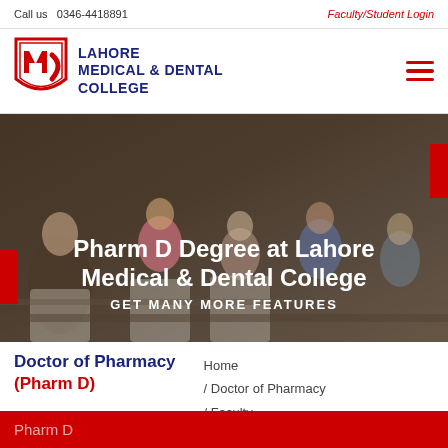Call us  0346-4418891
Faculty/Student Login
[Figure (logo): Lahore Medical & Dental College shield logo in red and navy]
LAHORE MEDICAL & DENTAL COLLEGE
[Figure (photo): Students in a classroom lecture hall, wearing white coats and hijabs]
Pharm D Degree at Lahore Medical & Dental College
GET MANY MORE FEATURES
Doctor of Pharmacy (Pharm D)
Home / Doctor of Pharmacy / Faculty
Pharm D